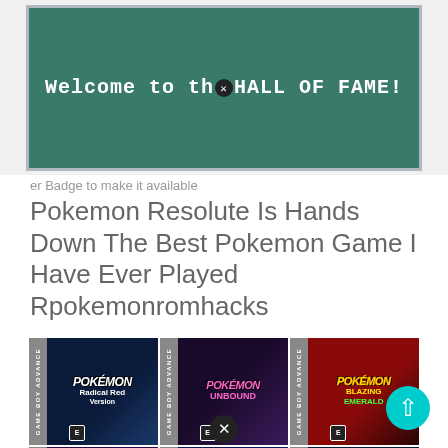[Figure (screenshot): Game Boy Advance screen showing 'Welcome to the HALL OF FAME!' text on teal/green background]
er Badge to make it available
Pokemon Resolute Is Hands Down The Best Pokemon Game I Have Ever Played Rpokemonromhacks
[Figure (photo): Grid of 6 Pokemon ROM hack game covers: Radical Red, Unbound, Blazing Emerald (top row); Dark Violet, Blazed Glazed, Light Platinum (bottom row)]